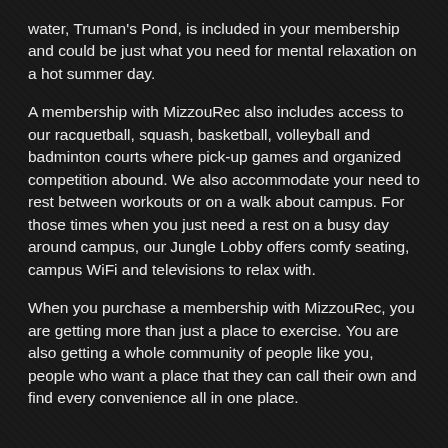water, Truman's Pond, is included in your membership and could be just what you need for mental relaxation on a hot summer day.
A membership with MizzouRec also includes access to our racquetball, squash, basketball, volleyball and badminton courts where pick-up games and organized competition abound. We also accommodate your need to rest between workouts or on a walk about campus. For those times when you just need a rest on a busy day around campus, our Jungle Lobby offers comfy seating, campus WiFi and televisions to relax with.
When you purchase a membership with MizzouRec, you are getting more than just a place to exercise. You are also getting a whole community of people like you, people who want a place that they can call their own and find every convenience all in one place.